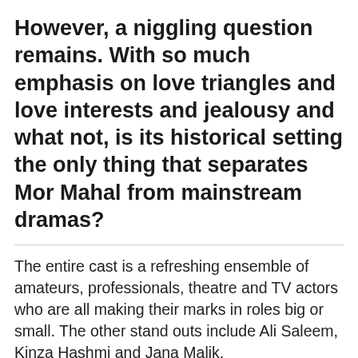However, a niggling question remains. With so much emphasis on love triangles and love interests and jealousy and what not, is its historical setting the only thing that separates Mor Mahal from mainstream dramas?
The entire cast is a refreshing ensemble of amateurs, professionals, theatre and TV actors who are all making their marks in roles big or small. The other stand outs include Ali Saleem, Kinza Hashmi and Jana Malik.
This episode ended on an ominous note; there are hints that trickery and deceit will follow. As Banki...